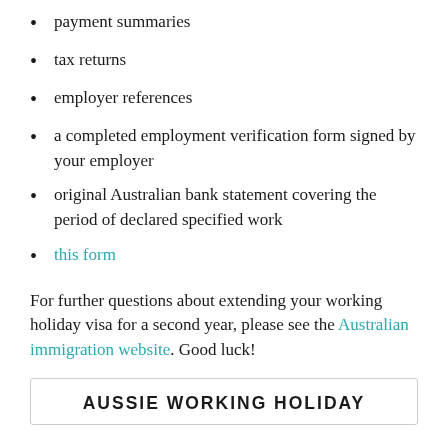payment summaries
tax returns
employer references
a completed employment verification form signed by your employer
original Australian bank statement covering the period of declared specified work
this form
For further questions about extending your working holiday visa for a second year, please see the Australian immigration website. Good luck!
AUSSIE WORKING HOLIDAY